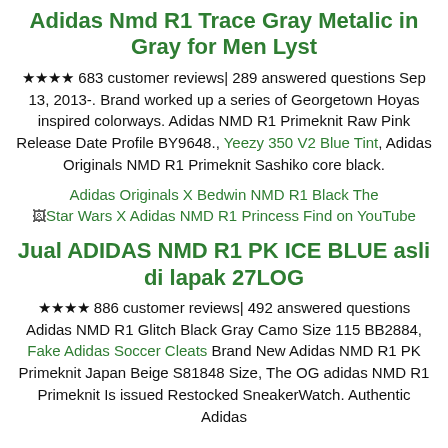Adidas Nmd R1 Trace Gray Metalic in Gray for Men Lyst
★★★★ 683 customer reviews| 289 answered questions Sep 13, 2013-. Brand worked up a series of Georgetown Hoyas inspired colorways. Adidas NMD R1 Primeknit Raw Pink Release Date Profile BY9648., Yeezy 350 V2 Blue Tint, Adidas Originals NMD R1 Primeknit Sashiko core black.
Adidas Originals X Bedwin NMD R1 Black The [image] Star Wars X Adidas NMD R1 Princess Find on YouTube
Jual ADIDAS NMD R1 PK ICE BLUE asli di lapak 27LOG
★★★★ 886 customer reviews| 492 answered questions Adidas NMD R1 Glitch Black Gray Camo Size 115 BB2884, Fake Adidas Soccer Cleats Brand New Adidas NMD R1 PK Primeknit Japan Beige S81848 Size, The OG adidas NMD R1 Primeknit Is issued Restocked SneakerWatch. Authentic Adidas